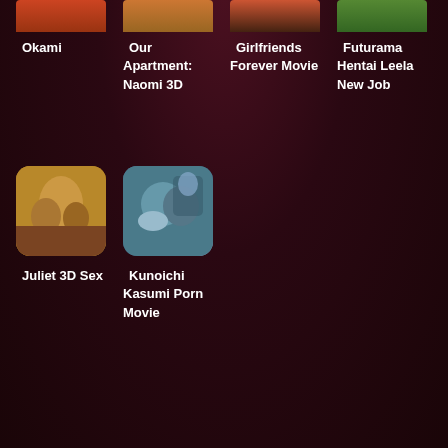[Figure (screenshot): Partial thumbnail image cropped at top - Okami]
Okami
[Figure (screenshot): Partial thumbnail image cropped at top - Our Apartment: Naomi 3D]
Our Apartment: Naomi 3D
[Figure (screenshot): Partial thumbnail image cropped at top - Girlfriends Forever Movie]
Girlfriends Forever Movie
[Figure (screenshot): Partial thumbnail image cropped at top - Futurama Hentai Leela New Job]
Futurama Hentai Leela New Job
[Figure (screenshot): Thumbnail image - Juliet 3D Sex]
Juliet 3D Sex
[Figure (screenshot): Thumbnail image - Kunoichi Kasumi Porn Movie]
Kunoichi Kasumi Porn Movie